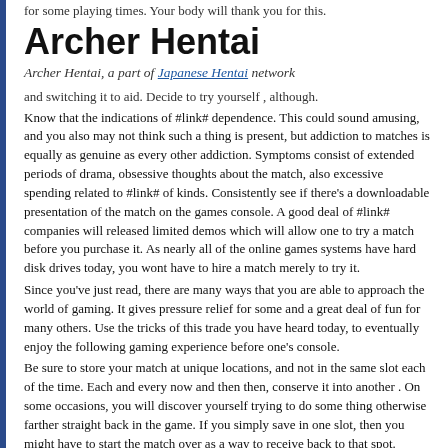for some playing times. Your body will thank you for this.
Archer Hentai
Archer Hentai, a part of Japanese Hentai network
and switching it to aid. Decide to try yourself , although.
Know that the indications of #link# dependence. This could sound amusing, and you also may not think such a thing is present, but addiction to matches is equally as genuine as every other addiction. Symptoms consist of extended periods of drama, obsessive thoughts about the match, also excessive spending related to #link# of kinds. Consistently see if there's a downloadable presentation of the match on the games console. A good deal of #link# companies will released limited demos which will allow one to try a match before you purchase it. As nearly all of the online games systems have hard disk drives today, you wont have to hire a match merely to try it.
Since you've just read, there are many ways that you are able to approach the world of gaming. It gives pressure relief for some and a great deal of fun for many others. Use the tricks of this trade you have heard today, to eventually enjoy the following gaming experience before one's console.
Be sure to store your match at unique locations, and not in the same slot each of the time. Each and every now and then then, conserve it into another . On some occasions, you will discover yourself trying to do some thing otherwise farther straight back in the game. If you simply save in one slot, then you might have to start the match over as a way to receive back to that spot.
To conserve some cash in your own #link#, consider subscribing into a service that you could rent matches in the. The cost of these lease agreements for a year is usually significantly less compared to the purchase price of two or two games. You are able to keep the matches and soon you overcome them and just send them straight back and purchase another .
Attempt to locate loaded, entertaining games that have some educational value for your own children. These matches will not only offer pleasure for the child, but could also teach them some thing too. This helps to broaden your sons'and daughters' horizons and